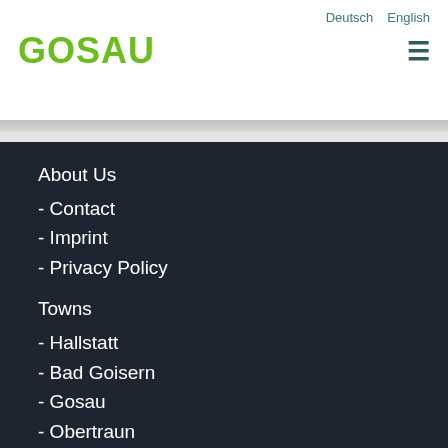Deutsch  English
GOSAU
About Us
- Contact
- Imprint
- Privacy Policy
Towns
- Hallstatt
- Bad Goisern
- Gosau
- Obertraun
Traffic
- Arrivel